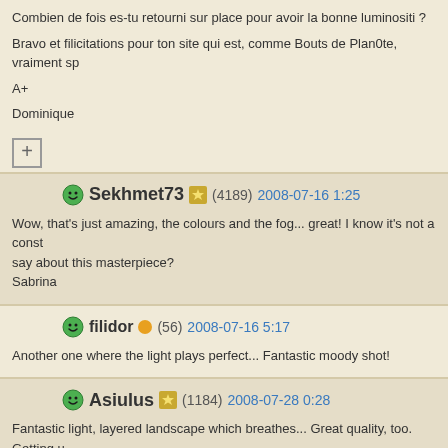Combien de fois es-tu retourni sur place pour avoir la bonne luminositi ?
Bravo et filicitations pour ton site qui est, comme Bouts de Plan0te, vraiment sp
A+
Dominique
Sekhmet73 (4189) 2008-07-16 1:25
Wow, that's just amazing, the colours and the fog... great! I know it's not a const say about this masterpiece?
Sabrina
filidor (56) 2008-07-16 5:17
Another one where the light plays perfect... Fantastic moody shot!
Asiulus (1184) 2008-07-28 0:28
Fantastic light, layered landscape which breathes... Great quality, too. Getting u get such rewards ;-)